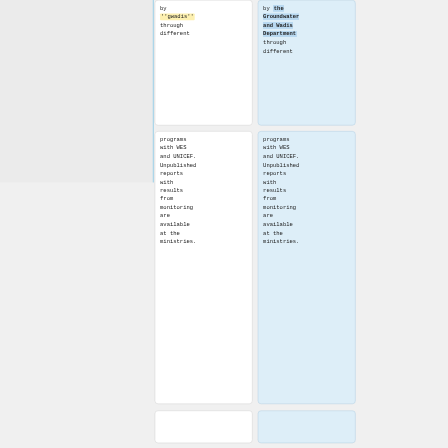by ''gwadis'' through different
by the Groundwater and Wadis Department through different
programs with WES and UNICEF. Unpublished reports with results from monitoring are available at the ministries.
programs with WES and UNICEF. Unpublished reports with results from monitoring are available at the ministries.